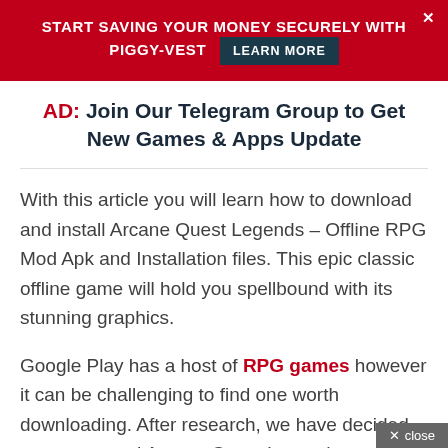START SAVING YOUR MONEY SECURELY WITH PIGGY-VEST  LEARN MORE
AD: Join Our Telegram Group to Get New Games & Apps Update
With this article you will learn how to download and install Arcane Quest Legends – Offline RPG Mod Apk and Installation files. This epic classic offline game will hold you spellbound with its stunning graphics.
Google Play has a host of RPG games however it can be challenging to find one worth downloading. After research, we have decided to recommend Arcane Quest Legends.